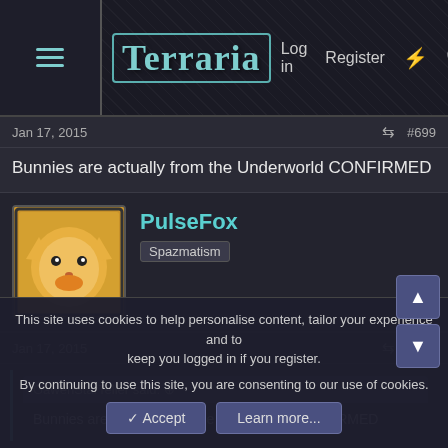Terraria — Log in | Register
Jan 17, 2015 #699
Bunnies are actually from the Underworld CONFIRMED
PulseFox — Spazmatism
Jan 17, 2015 #700
GawenStarTeller said: ↑ Bunnies are actually from the Underworld CONFIRMED
"here bunny bunny bunny, i know your dirty tricks now"
This site uses cookies to help personalise content, tailor your experience and to keep you logged in if you register. By continuing to use this site, you are consenting to our use of cookies.